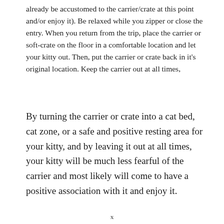already be accustomed to the carrier/crate at this point and/or enjoy it). Be relaxed while you zipper or close the entry. When you return from the trip, place the carrier or soft-crate on the floor in a comfortable location and let your kitty out. Then, put the carrier or crate back in it's original location. Keep the carrier out at all times,
By turning the carrier or crate into a cat bed, cat zone, or a safe and positive resting area for your kitty, and by leaving it out at all times, your kitty will be much less fearful of the carrier and most likely will come to have a positive association with it and enjoy it.
x